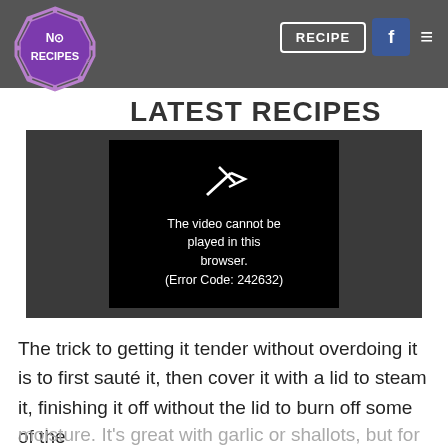NO RECIPES — RECIPE [nav] [facebook] [menu]
LATEST RECIPES
[Figure (screenshot): Video player showing error message: 'The video cannot be played in this browser. (Error Code: 242632)']
The trick to getting it tender without overdoing it is to first sauté it, then cover it with a lid to steam it, finishing it off without the lid to burn off some of the moisture. It's great with garlic or shallots, but for this